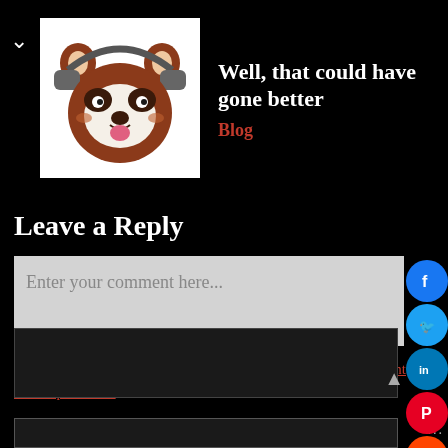[Figure (illustration): Red panda cartoon avatar wearing headphones, with white face markings and pink tongue, on white background]
Well, that could have gone better
Blog
Leave a Reply
Enter your comment here...
This site uses Akismet to reduce spam. Learn how your comment data is processed.